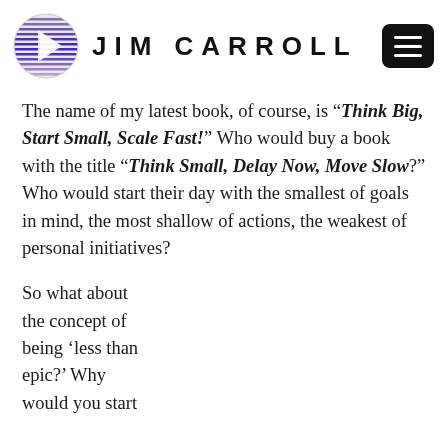JIM CARROLL
The name of my latest book, of course, is “Think Big, Start Small, Scale Fast!” Who would buy a book with the title “Think Small, Delay Now, Move Slow?” Who would start their day with the smallest of goals in mind, the most shallow of actions, the weakest of personal initiatives?
So what about the concept of being ‘less than epic?’ Why would you start